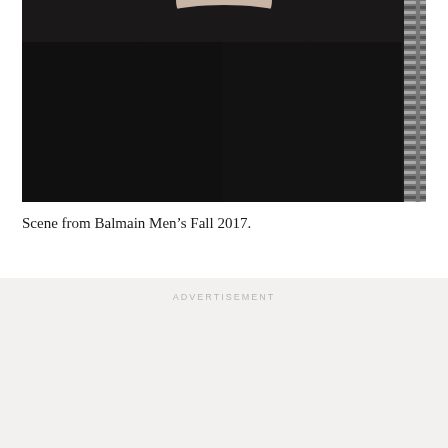[Figure (photo): Close-up fashion photo of a person wearing a black top or jacket with a zipper detail on the right side. Only the neck/chin and torso are visible against a dark background.]
Scene from Balmain Men's Fall 2017.
ADVERTISEMENT